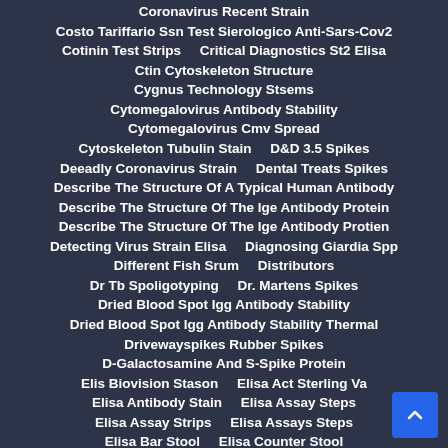Coronavirus Recent Strain
Costo Tariffario Ssn Test Sierologico Anti-Sars-Cov2
Cotinin Test Strips    Critical Diagnostics St2 Elisa
Ctin Cytoskeleton Structure
Cygnus Technology Stsems
Cytomegalovirus Antibody Stability
Cytomegalovirus Cmv Spread
Cytoskeleton Tubulin Stain    D&D 3.5 Spikes
Deeadly Coronavirus Strain    Dental Treats Spikes
Describe The Structure Of A Typical Human Antibody
Describe The Structure Of The Ige Antibody Protein
Describe The Structure Of The Ige Antibody Protien
Detecting Virus Strain Elisa    Diagnosing Giardia Spp
Different Fish Srum    Distributors
Diversilab Tb Strain Typing System Bacterial Barcodes Biome
Dr Tb Spoligotyping    Dr. Martens Spikes
Dried Blood Spot Igg Antibody Stability
Dried Blood Spot Igg Antibody Stability Thermal
Drivewayspikes Rubber Spikes
D-Galactosamine And S-Spike Protein
Elis Biovision Stason    Elisa Act Sterling Va
Elisa Antibody Stain    Elisa Assay Steps
Elisa Assay Strips    Elisa Assays Steps
Elisa Bar Stool    Elisa Counter Stool
Elisa Mit Streptavidin    Elisa Of Stem Cell Markers